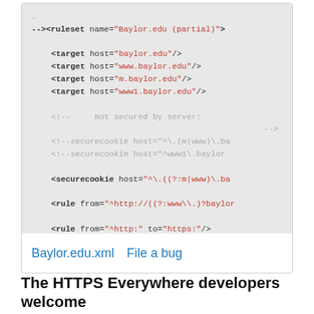[Figure (screenshot): Code block showing an HTTPS Everywhere ruleset XML snippet for Baylor.edu, with target hosts, commented-out securecookie entries, active securecookie element, and rule elements. Below the code are two links: 'Baylor.edu.xml' and 'File a bug'.]
The HTTPS Everywhere developers welcome